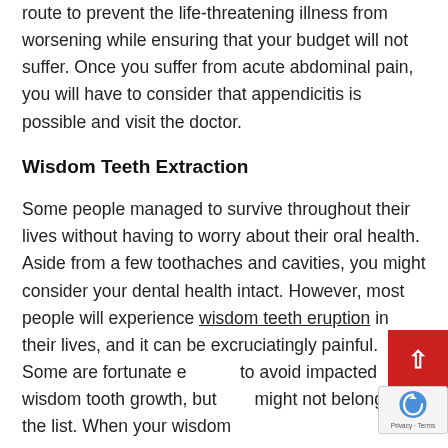route to prevent the life-threatening illness from worsening while ensuring that your budget will not suffer. Once you suffer from acute abdominal pain, you will have to consider that appendicitis is possible and visit the doctor.
Wisdom Teeth Extraction
Some people managed to survive throughout their lives without having to worry about their oral health. Aside from a few toothaches and cavities, you might consider your dental health intact. However, most people will experience wisdom teeth eruption in their lives, and it can be excruciatingly painful. Some are fortunate enough to avoid impacted wisdom tooth growth, but you might not belong to the list. When your wisdom